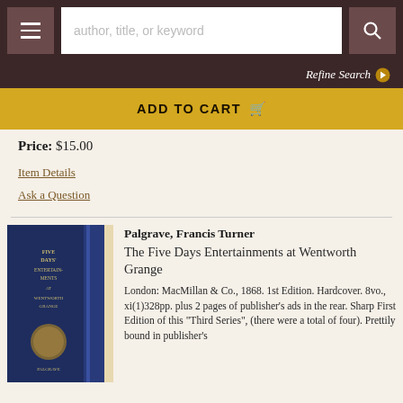author, title, or keyword
Refine Search
ADD TO CART
Price: $15.00
Item Details
Ask a Question
[Figure (photo): Dark blue hardcover book spine showing 'The Five Days Entertainments at Wentworth Grange' by Palgrave, standing upright at an angle]
Palgrave, Francis Turner
The Five Days Entertainments at Wentworth Grange
London: MacMillan & Co., 1868. 1st Edition. Hardcover. 8vo., xi(1)328pp. plus 2 pages of publisher's ads in the rear. Sharp First Edition of this "Third Series", (there were a total of four). Prettily bound in publisher's